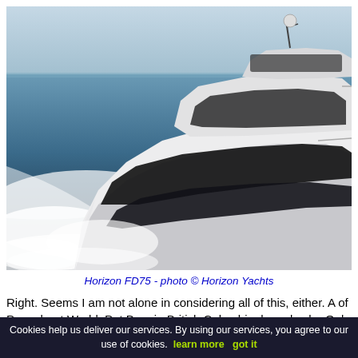[Figure (photo): Luxury motor yacht Horizon FD75 underway at speed on the open sea, creating large white bow wake, viewed from slightly elevated angle. The yacht is white with dark tinted windows/hull stripe.]
Horizon FD75 - photo © Horizon Yachts
Right. Seems I am not alone in considering all of this, either. A of Powerboat.World, Pat Bray in British Columbia, has also be Only difference is, he is a Naval Architect, and he has been kind a
Cookies help us deliver our services. By using our services, you agree to our use of cookies.  learn more   got it